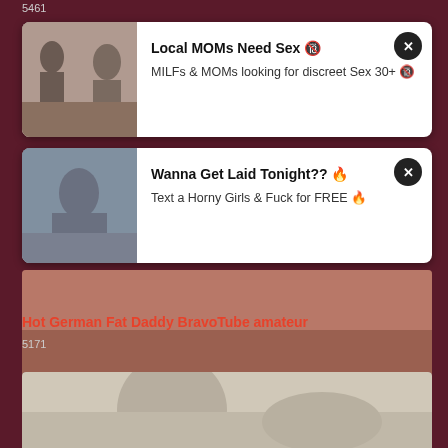5461
[Figure (screenshot): Ad card 1: Local MOMs Need Sex with close button and thumbnail]
[Figure (screenshot): Ad card 2: Wanna Get Laid Tonight?? with close button and thumbnail]
[Figure (photo): Video thumbnail with duration 31:42]
Hot German Fat Daddy BravoTube amateur
5171
[Figure (photo): Video thumbnail of woman in bathtub]